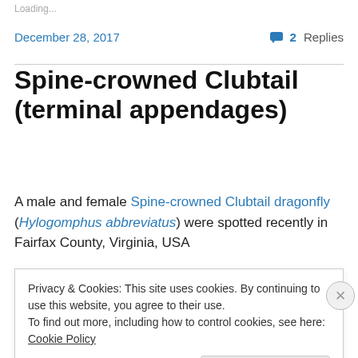Loading...
December 28, 2017   💬 2 Replies
Spine-crowned Clubtail (terminal appendages)
A male and female Spine-crowned Clubtail dragonfly (Hylogomphus abbreviatus) were spotted recently in Fairfax County, Virginia, USA
Privacy & Cookies: This site uses cookies. By continuing to use this website, you agree to their use.
To find out more, including how to control cookies, see here: Cookie Policy
Close and accept